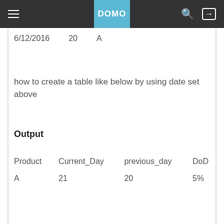DOMO
| Date | Sales | A |
| --- | --- | --- |
| 6/13/2016 | 21 |  |
| 6/12/2016 | 20 | A |
how to create a table like below by using date set above
Output
| Product | Current_Day | previous_day | DoD |
| --- | --- | --- | --- |
| A | 21 | 20 | 5% |